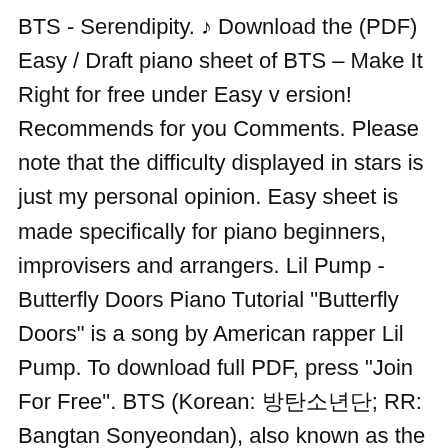BTS - Serendipity. ♪ Download the (PDF) Easy / Draft piano sheet of BTS – Make It Right for free under Easy v ersion! Recommends for you Comments. Please note that the difficulty displayed in stars is just my personal opinion. Easy sheet is made specifically for piano beginners, improvisers and arrangers. Lil Pump - Butterfly Doors Piano Tutorial "Butterfly Doors" is a song by American rapper Lil Pump. To download full PDF, press "Join For Free". BTS (Korean: 방탄소년단; RR: Bangtan Sonyeondan), also known as the Bangtan Boys, is a seven-member South Korean boy band who began formation in 2010 and debuted in 2013. MY ARTIST GENRE. Another song that was requested quite a lot. Description N.B. → Here's the